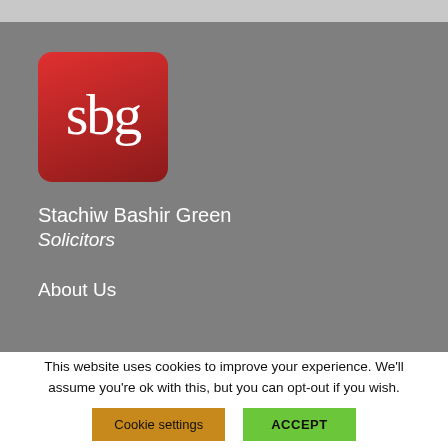[Figure (logo): SBG law firm logo: red/dark-red gradient rounded square with white serif letters 'sbg']
Stachiw Bashir Green Solicitors
About Us
This website uses cookies to improve your experience. We'll assume you're ok with this, but you can opt-out if you wish.
Cookie settings | ACCEPT